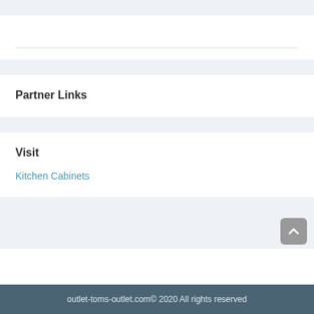Partner Links
Visit
Kitchen Cabinets
outlet-toms-outlet.com© 2020 All rights reserved